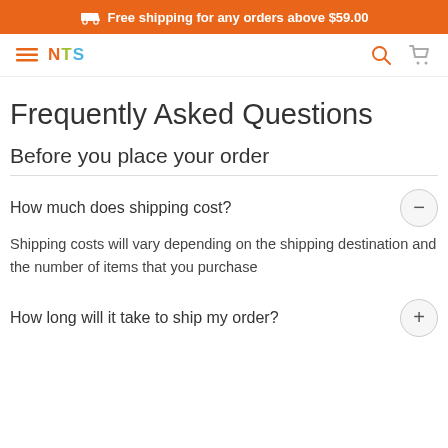Free shipping for any orders above $59.00
[Figure (screenshot): Navigation bar with hamburger menu, NTS logo in orange/green/blue, search icon in orange, cart icon in gray]
Frequently Asked Questions
Before you place your order
How much does shipping cost?
Shipping costs will vary depending on the shipping destination and the number of items that you purchase
How long will it take to ship my order?